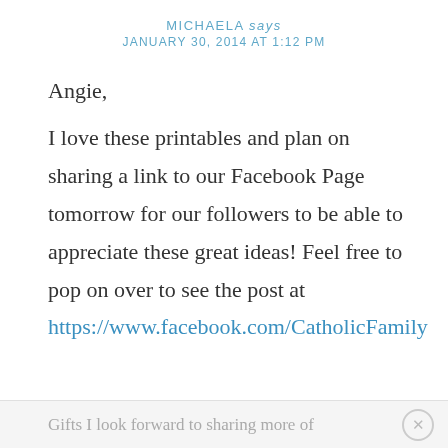MICHAELA says JANUARY 30, 2014 AT 1:12 PM
Angie,

I love these printables and plan on sharing a link to our Facebook Page tomorrow for our followers to be able to appreciate these great ideas! Feel free to pop on over to see the post at https://www.facebook.com/CatholicFamily
Gifts I look forward to sharing more of